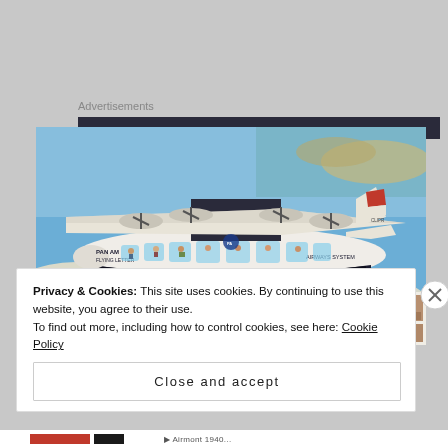Advertisements
[Figure (illustration): Cutaway illustration of a Pan American Airways flying boat (Clipper seaplane) in flight over water and clouds, showing interior compartments with passengers and crew. White aircraft with dark hull, red and white tail markings, registration visible. Spread across two magazine pages with small photos and text columns below the illustration.]
Privacy & Cookies: This site uses cookies. By continuing to use this website, you agree to their use.
To find out more, including how to control cookies, see here: Cookie Policy
Close and accept